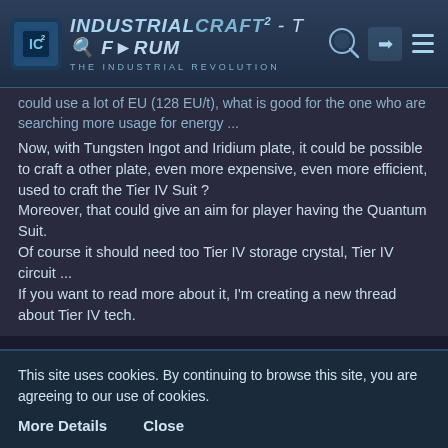IndustrialCraft² - The Forum · The Industrial Revolution
could use a lot of EU (128 EU/t), what is good for the one who are searching more usage for energy ...
Now, with Tungsten Ingot and Iridium plate, it could be possible to craft a other plate, even more expensive, even more efficient, used to craft the Tier IV Suit ?
Moreover, that could give an aim for player having the Quantum Suit.
Of course it should need too Tier IV storage crystal, Tier IV circuit ...
If you want to read more about it, I'm creating a new thread about Tier IV tech.
[Figure (other): Related thread thumbnail showing a golden item icon]
Heat Circuit, Forces, Light, Reffinery and more.
MatLaPatate · Apr 10th 2012
This site uses cookies. By continuing to browse this site, you are agreeing to our use of cookies.
More Details   Close